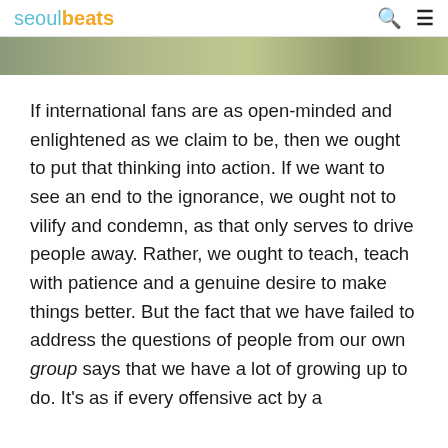seoulbeats
[Figure (photo): Cropped photo strip showing blurred outdoor image with green/brown tones]
If international fans are as open-minded and enlightened as we claim to be, then we ought to put that thinking into action. If we want to see an end to the ignorance, we ought not to vilify and condemn, as that only serves to drive people away. Rather, we ought to teach, teach with patience and a genuine desire to make things better. But the fact that we have failed to address the questions of people from our own group says that we have a lot of growing up to do. It's as if every offensive act by a